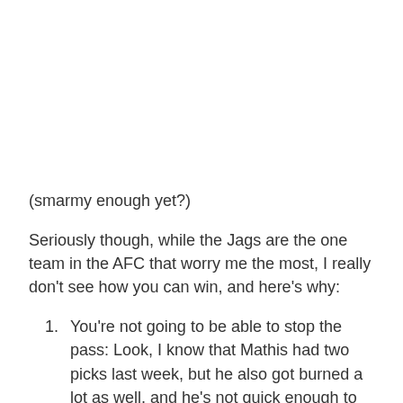(smarmy enough yet?)
Seriously though, while the Jags are the one team in the AFC that worry me the most, I really don't see how you can win, and here's why:
You're not going to be able to stop the pass: Look, I know that Mathis had two picks last week, but he also got burned a lot as well, and he's not quick enough to stay with Moss. Your DBs behind him are even more suspect - who's gonna cover